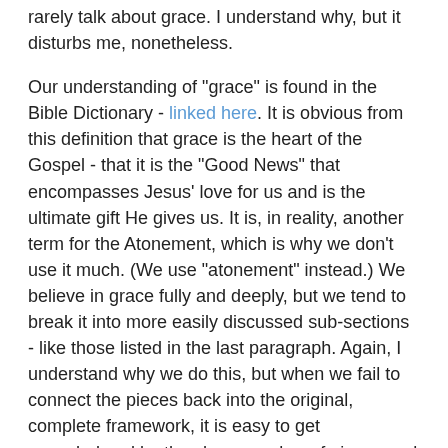rarely talk about grace. I understand why, but it disturbs me, nonetheless.
Our understanding of "grace" is found in the Bible Dictionary - linked here. It is obvious from this definition that grace is the heart of the Gospel - that it is the "Good News" that encompasses Jesus' love for us and is the ultimate gift He gives us. It is, in reality, another term for the Atonement, which is why we don't use it much. (We use "atonement" instead.) We believe in grace fully and deeply, but we tend to break it into more easily discussed sub-sections - like those listed in the last paragraph. Again, I understand why we do this, but when we fail to connect the pieces back into the original, complete framework, it is easy to get overwhelmed by the sheer number of pieces and lose sight of the fact that they really comprise only one full concept - the grace that underlies the Atonement of Jesus.
So, why do we do this?
This will be a simplification, but at the time of the Restoration, the dominant doctrinal argument was over faith